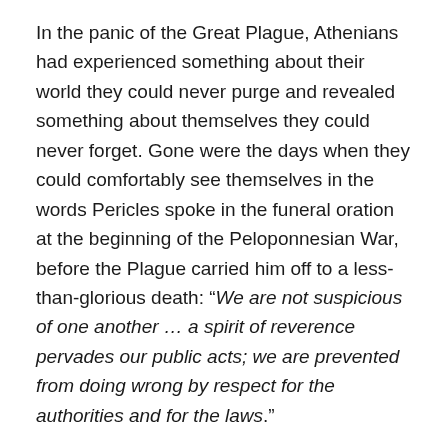In the panic of the Great Plague, Athenians had experienced something about their world they could never purge and revealed something about themselves they could never forget. Gone were the days when they could comfortably see themselves in the words Pericles spoke in the funeral oration at the beginning of the Peloponnesian War, before the Plague carried him off to a less-than-glorious death: “We are not suspicious of one another … a spirit of reverence pervades our public acts; we are prevented from doing wrong by respect for the authorities and for the laws.”
The Great Plague tested this Athenian self-conception and found it wanting. Who people of a nation collectively believe they are is incredibly import, particularly in a democracy where the people are tasked with the